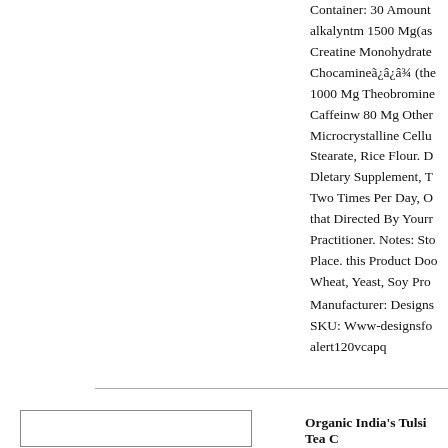Container: 30 Amount alkalyntm 1500 Mg(as Creatine Monohydrate Chocamineã¿â¿â¾ (the 1000 Mg Theobromine Caffeinw 80 Mg Other Microcrystalline Celu Stearate, Rice Flour. D Dletary Supplement, T Two Times Per Day, O that Directed By Yourr Practitioner. Notes: Sto Place. this Product Doo Wheat, Yeast, Soy Pro
Manufacturer: Designs SKU: Www-designsfo alert120vcapq
Organic India's Tulsi Tea C